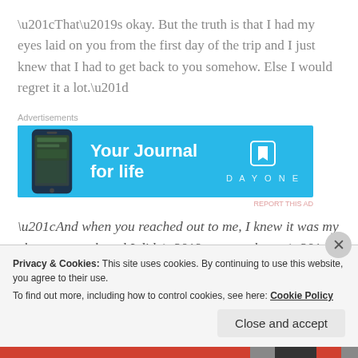“That’s okay. But the truth is that I had my eyes laid on you from the first day of the trip and I just knew that I had to get back to you somehow. Else I would regret it a lot.”
[Figure (screenshot): Advertisement banner for DayOne journal app with blue background, phone image on left, bold white text 'Your Journal for life', book icon and DAYONE logo on right]
“And when you reached out to me, I knew it was my chance to grab and I didn’t want to let go.”
Privacy & Cookies: This site uses cookies. By continuing to use this website, you agree to their use.
To find out more, including how to control cookies, see here: Cookie Policy